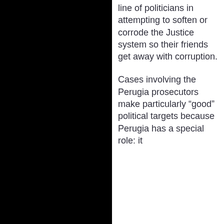line of politicians in attempting to soften or corrode the Justice system so their friends get away with corruption.
Cases involving the Perugia prosecutors make particularly “good” political targets because Perugia has a special role: it